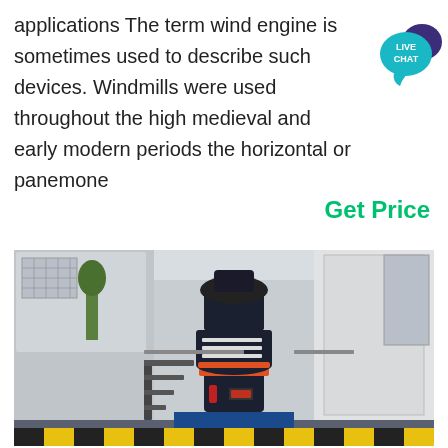applications The term wind engine is sometimes used to describe such devices. Windmills were used throughout the high medieval and early modern periods the horizontal or panemone
[Figure (other): Live Chat button — teal speech bubble with 'LIVE CHAT' text and dark purple decorative bubble behind it]
Get Price
[Figure (photo): Large industrial machinery (cone crusher or similar heavy equipment) inside a warehouse/factory building. The machine is black and dark blue, cylindrical, with orange bands, mounted on a platform. The building has white walls, metal structure, large windows and a large white door.]